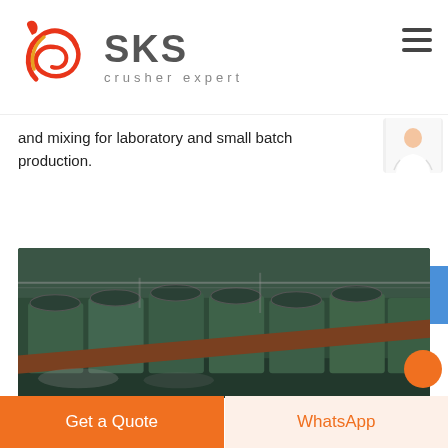[Figure (logo): SKS Crusher Expert logo with red swirl emblem on left and bold grey SKS text with 'crusher expert' tagline]
and mixing for laboratory and small batch production.
[Figure (illustration): Blue button with customer service representative avatar (woman in white top, gesturing) and 'Free chat' label]
[Figure (other): Orange rounded pill button labeled LIVE CHAT]
[Figure (photo): Industrial crushing/milling machinery in a factory, green-painted heavy equipment on a production line]
[Figure (other): Orange scroll-to-top circle button at bottom right]
Get a Quote
WhatsApp